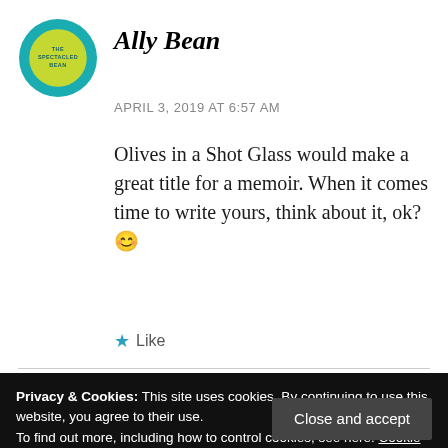[Figure (logo): Circular avatar logo for 'The Spectacled Bean' blog — teal/turquoise outer ring, yellow-green inner circle with small text 'THE SPECTACLED BEAN']
Ally Bean
APRIL 3, 2019 AT 6:57 AM
Olives in a Shot Glass would make a great title for a memoir. When it comes time to write yours, think about it, ok? 😊
★ Like
Privacy & Cookies: This site uses cookies. By continuing to use this website, you agree to their use.
To find out more, including how to control cookies, see here: Cookie Policy
Close and accept
Ooooh, I wish I had thought of